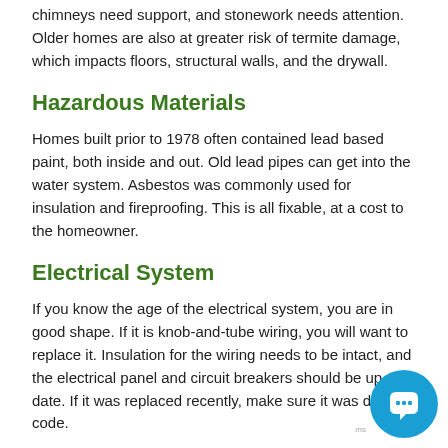chimneys need support, and stonework needs attention. Older homes are also at greater risk of termite damage, which impacts floors, structural walls, and the drywall.
Hazardous Materials
Homes built prior to 1978 often contained lead based paint, both inside and out. Old lead pipes can get into the water system. Asbestos was commonly used for insulation and fireproofing. This is all fixable, at a cost to the homeowner.
Electrical System
If you know the age of the electrical system, you are in good shape. If it is knob-and-tube wiring, you will want to replace it. Insulation for the wiring needs to be intact, and the electrical panel and circuit breakers should be up-to-date. If it was replaced recently, make sure it was done to code.
Old Appliances And HVAC
Kitchen and laundry room appliances, air conditioning